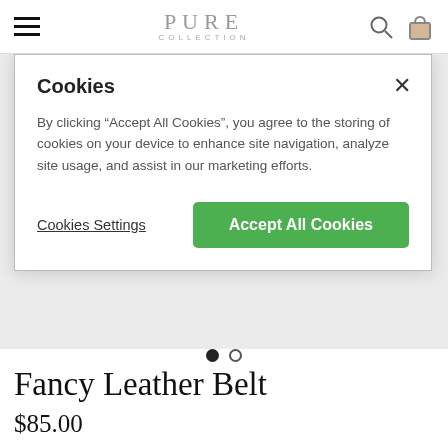PURE COLLECTION
Cookies
By clicking “Accept All Cookies”, you agree to the storing of cookies on your device to enhance site navigation, analyze site usage, and assist in our marketing efforts.
Cookies Settings   Accept All Cookies
Fancy Leather Belt
$85.00
★★★★★ (5 reviews)
STYLE CODE: LA948
COLOR:BRONZE